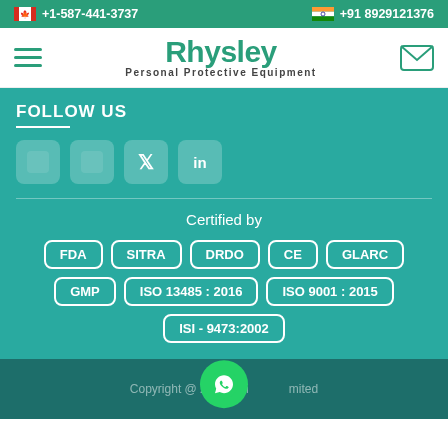+1-587-441-3737   +91 8929121376
[Figure (logo): Rhysley Personal Protective Equipment logo with hamburger menu and envelope icon]
FOLLOW US
[Figure (illustration): Social media icons: Facebook, Instagram, Twitter, LinkedIn]
Certified by
FDA | SITRA | DRDO | CE | GLARC | GMP | ISO 13485 : 2016 | ISO 9001 : 2015 | ISI - 9473:2002
Copyright @ 2022. Rhysley Limited